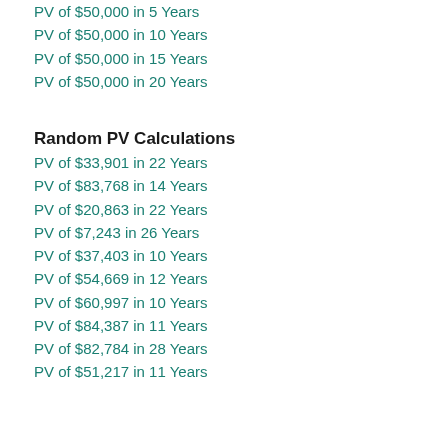PV of $50,000 in 5 Years
PV of $50,000 in 10 Years
PV of $50,000 in 15 Years
PV of $50,000 in 20 Years
Random PV Calculations
PV of $33,901 in 22 Years
PV of $83,768 in 14 Years
PV of $20,863 in 22 Years
PV of $7,243 in 26 Years
PV of $37,403 in 10 Years
PV of $54,669 in 12 Years
PV of $60,997 in 10 Years
PV of $84,387 in 11 Years
PV of $82,784 in 28 Years
PV of $51,217 in 11 Years